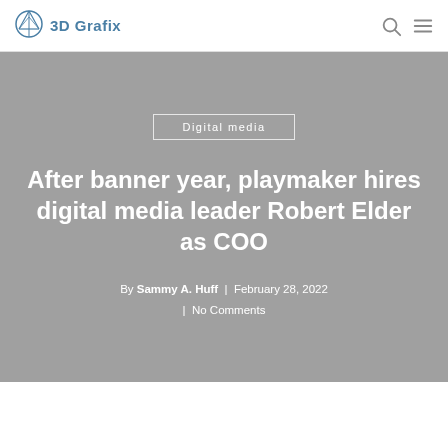3D Grafix
Digital media
After banner year, playmaker hires digital media leader Robert Elder as COO
By Sammy A. Huff | February 28, 2022 | No Comments